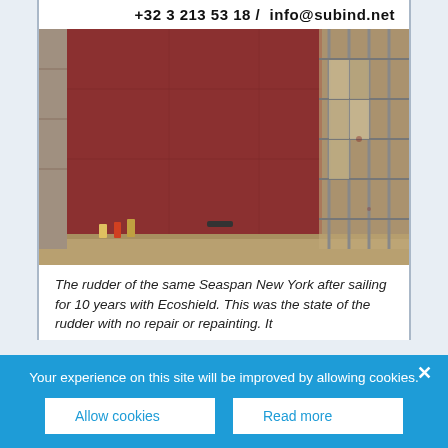+32 3 213 53 18 /  info@subind.net
[Figure (photo): Large ship rudder painted in dark red/maroon, photographed in dry dock with scaffolding visible on the right side. The hull surface shows subtle panel lines and minor weathering after 10 years of service.]
The rudder of the same Seaspan New York after sailing for 10 years with Ecoshield. This was the state of the rudder with no repair or repainting. It
Your experience on this site will be improved by allowing cookies.
Allow cookies
Read more